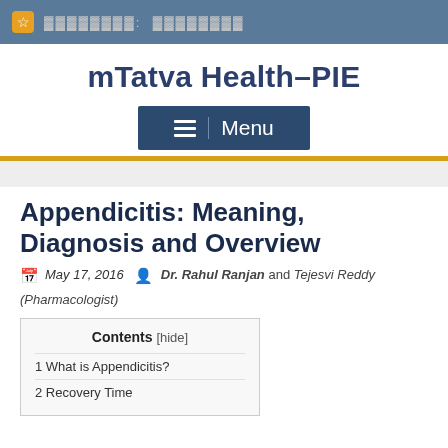☆ xxxxxxxx: xxxxxxxx
mTatva Health–PIE
[Figure (other): Menu button with hamburger icon and 'Menu' text on dark blue background]
Appendicitis: Meaning, Diagnosis and Overview
May 17, 2016   Dr. Rahul Ranjan and Tejesvi Reddy (Pharmacologist)
| Contents [hide] |
| --- |
| 1 What is Appendicitis? |
| 2 Recovery Time |